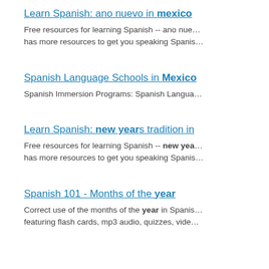Learn Spanish: ano nuevo in mexico
Free resources for learning Spanish -- ano nue... has more resources to get you speaking Spanis...
Spanish Language Schools in Mexico
Spanish Immersion Programs: Spanish Langua...
Learn Spanish: new years tradition in
Free resources for learning Spanish -- new yea... has more resources to get you speaking Spanis...
Spanish 101 - Months of the year
Correct use of the months of the year in Spanis... featuring flash cards, mp3 audio, quizzes, vide...